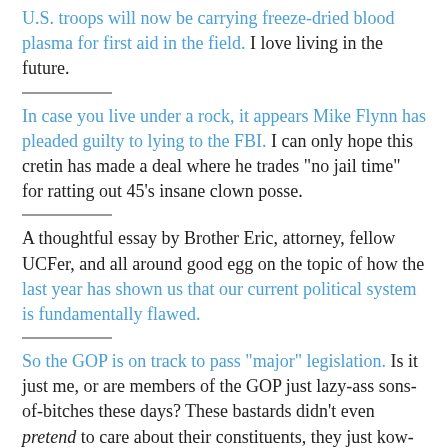U.S. troops will now be carrying freeze-dried blood plasma for first aid in the field. I love living in the future.
In case you live under a rock, it appears Mike Flynn has pleaded guilty to lying to the FBI. I can only hope this cretin has made a deal where he trades "no jail time" for ratting out 45's insane clown posse.
A thoughtful essay by Brother Eric, attorney, fellow UCFer, and all around good egg on the topic of how the last year has shown us that our current political system is fundamentally flawed.
So the GOP is on track to pass "major" legislation. Is it just me, or are members of the GOP just lazy-ass sons-of-bitches these days? These bastards didn't even pretend to care about their constituents, they just kow-towed to their donors as fast as they could to ensure "the donations didn't dry up." My own Republican Senator, the Coward Cory